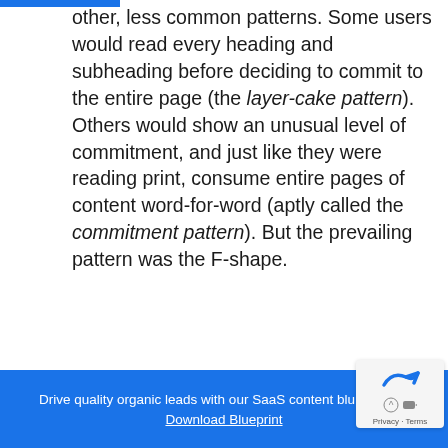other, less common patterns. Some users would read every heading and subheading before deciding to commit to the entire page (the layer-cake pattern). Others would show an unusual level of commitment, and just like they were reading print, consume entire pages of content word-for-word (aptly called the commitment pattern). But the prevailing pattern was the F-shape.
Drive quality organic leads with our SaaS content blu… Download Blueprint